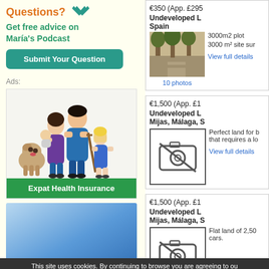Questions?
Get free advice on María's Podcast
Submit Your Question
Ads:
[Figure (illustration): Cartoon illustration of a family with a man in blue scrubs, woman holding a baby, young girl, and a dog. Expat Health Insurance advertisement.]
Expat Health Insurance
[Figure (illustration): Blue gradient rectangle advertisement banner.]
€350 (App. £295
Undeveloped Land in Spain
3000m2 plot
3000 m² site sur
10 photos
View full details
€1,500 (App. £1
Undeveloped Land in Mijas, Málaga, S
Perfect land for b that requires a lo
View full details
€1,500 (App. £1
Undeveloped Land in Mijas, Málaga, S
Flat land of 2,500 cars.
This site uses cookies. By continuing to browse you are agreeing to ou